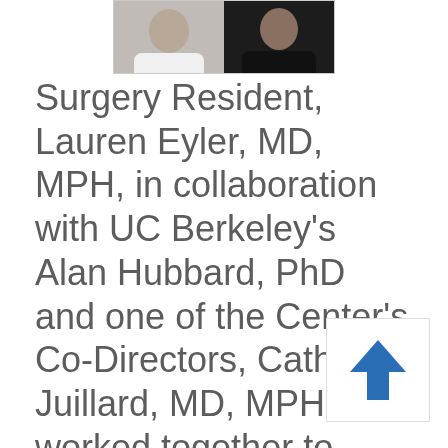[Figure (photo): Two headshot photos side by side — one person in white/light clothing on the left, one in dark clothing on the right]
Surgery Resident, Lauren Eyler, MD, MPH, in collaboration with UC Berkeley's Alan Hubbard, PhD and one of the Center's Co-Directors, Catherine Juillard, MD, MPH, worked together to develop an algorithm that facilitates health disparities research in the context of low- and middle-income countries. The algorithm can define population-specific models of economic status using